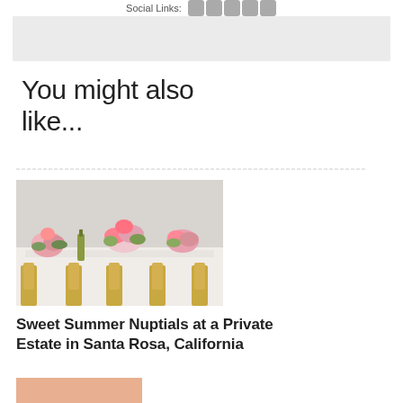Social Links:
[Figure (other): Gray placeholder box]
You might also like...
[Figure (photo): Wedding reception table with floral arrangements, gold chiavari chairs, and white tablecloth]
Sweet Summer Nuptials at a Private Estate in Santa Rosa, California
[Figure (photo): Couple at sunset, partially visible at bottom of page]